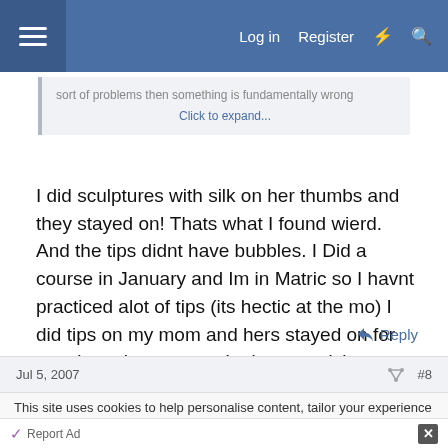Log in  Register
sort of problems then something is fundamentally wrong
Click to expand...
I did sculptures with silk on her thumbs and they stayed on! Thats what I found wierd. And the tips didnt have bubbles. I Did a course in January and Im in Matric so I havnt practiced alot of tips (its hectic at the mo) I did tips on my mom and hers stayed on for very long, but anyway Im just practicing on friends and family (luckily) and will definately try and sort this out!
Reply
Jul 5, 2007  #8
This site uses cookies to help personalise content, tailor your experience and to
Report Ad
⊘ ×
tally
Fast credit card payoff
Download Now →